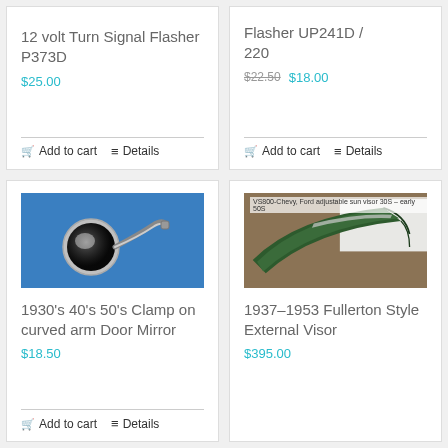12 volt Turn Signal Flasher P373D
$25.00
Add to cart   Details
Flasher UP241D / 220
$22.50  $18.00
Add to cart   Details
[Figure (photo): Chrome clamp-on curved arm door mirror on blue background]
1930's 40's 50's Clamp on curved arm Door Mirror
$18.50
Add to cart   Details
[Figure (photo): 1937-1953 Fullerton Style External Visor in dark green leather on brown surface, labeled VS800-Chevy, Ford adjustable sun visor 30s - early 50s]
1937-1953 Fullerton Style External Visor
$395.00